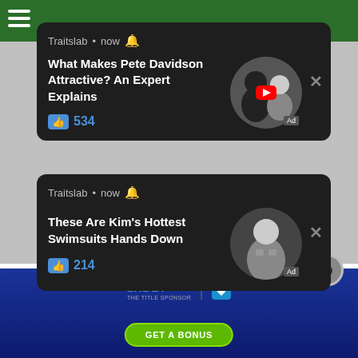[Figure (screenshot): Green navigation header bar with hamburger menu icon (three white horizontal lines)]
[Figure (screenshot): First notification card from Traitslab: 'What Makes Pete Davidson Attractive? An Expert Explains' with 534 likes and a circular photo of Pete Davidson and Kim Kardashian with YouTube play button, Ad badge]
[Figure (screenshot): Second notification card from Traitslab: 'These Are Kim's Hottest Swimsuits Hands Down' with 214 likes and a circular photo of Kim Kardashian, Ad badge]
Models
You Should Follow
[Figure (screenshot): Bottom advertisement banner for 1xBET with blue gradient background, GET A BONUS green button, and close X circle button]